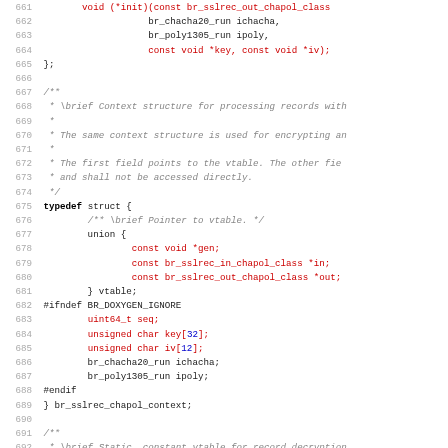Source code listing lines 661-692, C header file with typedef struct for br_sslrec_chapol_context